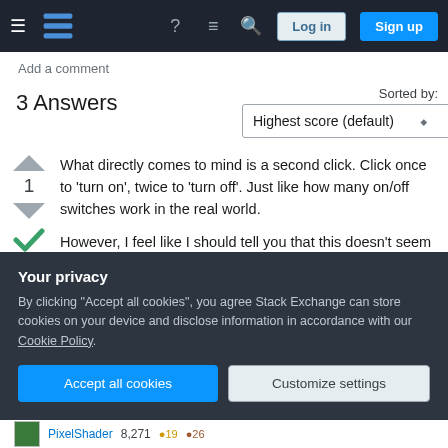Stack Exchange navigation bar with hamburger menu, logo, help, chat, search, Log in, Sign up buttons
Add a comment
3 Answers
Sorted by: Highest score (default)
What directly comes to mind is a second click. Click once to 'turn on', twice to 'turn off'. Just like how many on/off switches work in the real world.
However, I feel like I should tell you that this doesn't seem like good navigation, though. First of it can be considered mystery meat navigation as it's not clear
Your privacy
By clicking "Accept all cookies", you agree Stack Exchange can store cookies on your device and disclose information in accordance with our Cookie Policy.
Accept all cookies   Customize settings
PixelShader
8,271  19  26